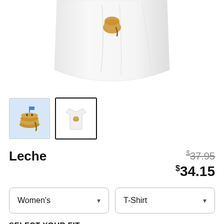[Figure (photo): White women's t-shirt product photo, partially cropped, showing bottom hem and body of shirt on white background]
[Figure (photo): Thumbnail 1: Pancake/leche character illustration on light blue background]
[Figure (photo): Thumbnail 2 (selected): White t-shirt with small graphic, on white background, black border indicating selection]
Leche
$37.95 (strikethrough original price)
$34.15 (sale price)
Women's (dropdown)
T-Shirt (dropdown)
SELECT YOUR FIT